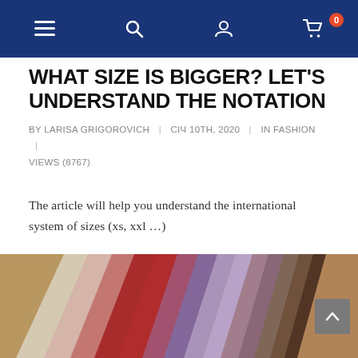Navigation bar with menu, search, account, and cart (0 items) icons
WHAT SIZE IS BIGGER? LET'S UNDERSTAND THE NOTATION
BY LARISA GRIGOROVICH | СІЧ 10TH, 2020 | IN FASHION | VIEWS (8767)
The article will help you understand the international system of sizes (xs, xxl …)
CONTINUE →
[Figure (photo): Colorful fabric swatches fanned out on a wooden surface, ranging from red and pink to purple and brown tones]